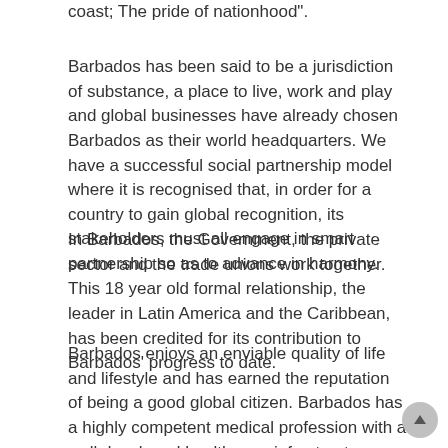coast; The pride of nationhood".
Barbados has been said to be a jurisdiction of substance, a place to live, work and play and global businesses have already chosen Barbados as their world headquarters. We have a successful social partnership model where it is recognised that, in order for a country to gain global recognition, its stakeholders must all engage in smart partnership so as to advance in harmony.
In Barbados, the Government, the private sector and the trade unions work together. This 18 year old formal relationship, the leader in Latin America and the Caribbean, has been credited for its contribution to Barbados' progress to date.
Barbados enjoys an enviable quality of life and lifestyle and has earned the reputation of being a good global citizen. Barbados has a highly competent medical profession with a well developed health care infrastructure. This is, indeed, attracting many potential investors interested in specialised medical care in a salubrious environment and, of course, with the distinct potential for medical tourism.